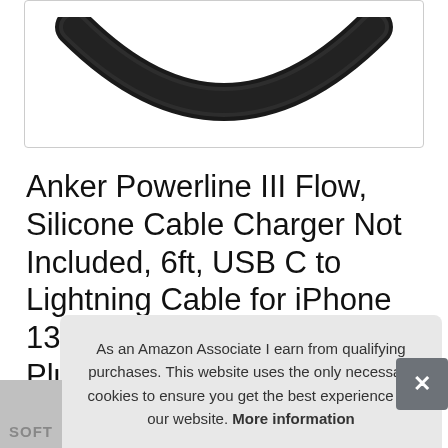[Figure (photo): Product image showing a black cable (Anker Powerline III Flow) in a white bordered box — bottom portion of the cable visible as a dark arc shape]
Anker Powerline III Flow, Silicone Cable Charger Not Included, 6ft, USB C to Lightning Cable for iPhone 13 13 Pro 12 11 X XS XR 8 Plus MFi Certified, Midnight Black Supports Power Delivery
As an Amazon Associate I earn from qualifying purchases. This website uses the only necessary cookies to ensure you get the best experience on our website. More information